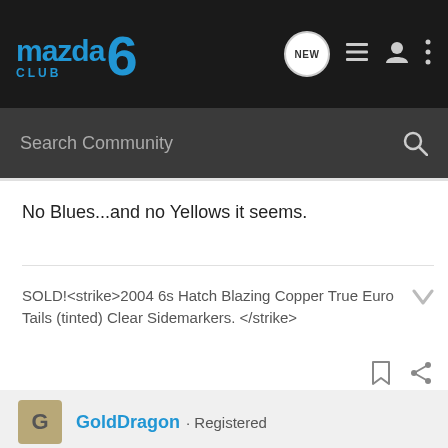Mazda 6 Club - NEW
Search Community
No Blues...and no Yellows it seems.
SOLD!<strike>2004 6s Hatch Blazing Copper True Euro Tails (tinted) Clear Sidemarkers. </strike>
GoldDragon · Registered